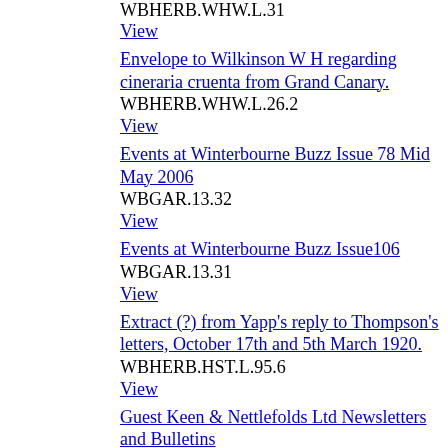WBHERB.WHW.L.31
View
Envelope to Wilkinson W H regarding cineraria cruenta from Grand Canary.
WBHERB.WHW.L.26.2
View
Events at Winterbourne Buzz Issue 78 Mid May 2006
WBGAR.13.32
View
Events at Winterbourne Buzz Issue106
WBGAR.13.31
View
Extract (?) from Yapp's reply to Thompson's letters, October 17th and 5th March 1920.
WBHERB.HST.L.95.6
View
Guest Keen & Nettlefolds Ltd Newsletters and Bulletins
WBGKN.1.31
View
Invitation from Lady Stone to Wilkinson W H to meet 1894-02-27.
WBHERB.WHW. L.20.2